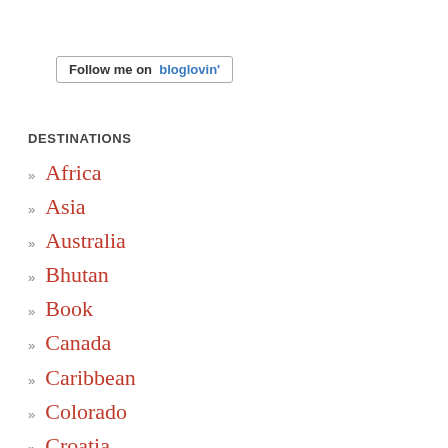[Figure (other): Follow me on bloglovin' button/badge with border]
DESTINATIONS
» Africa
» Asia
» Australia
» Bhutan
» Book
» Canada
» Caribbean
» Colorado
» Croatia
» Denmark
» Difficult hike